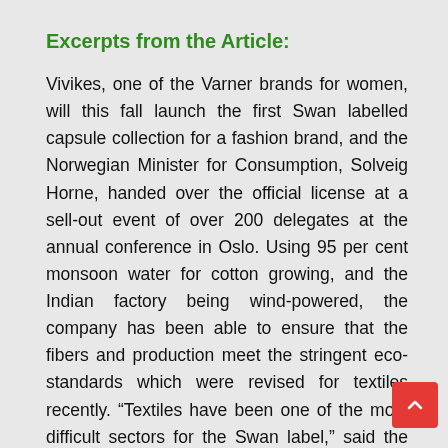Excerpts from the Article:
Vivikes, one of the Varner brands for women, will this fall launch the first Swan labelled capsule collection for a fashion brand, and the Norwegian Minister for Consumption, Solveig Horne, handed over the official license at a sell-out event of over 200 delegates at the annual conference in Oslo. Using 95 per cent monsoon water for cotton growing, and the Indian factory being wind-powered, the company has been able to ensure that the fibers and production meet the stringent eco-standards which were revised for textiles recently. “Textiles have been one of the most difficult sectors for the Swan label,” said the Minister, and added that apparel and bedding-textiles are next to skin and the…